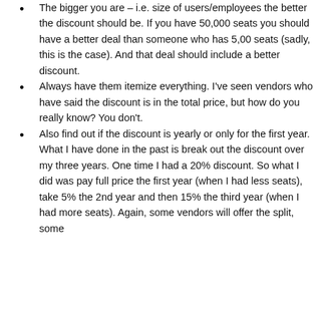The bigger you are – i.e. size of users/employees the better the discount should be. If you have 50,000 seats you should have a better deal than someone who has 5,00 seats (sadly, this is the case). And that deal should include a better discount.
Always have them itemize everything. I've seen vendors who have said the discount is in the total price, but how do you really know? You don't.
Also find out if the discount is yearly or only for the first year. What I have done in the past is break out the discount over my three years. One time I had a 20% discount. So what I did was pay full price the first year (when I had less seats), take 5% the 2nd year and then 15% the third year (when I had more seats). Again, some vendors will offer the split, some won't but some (they make change...